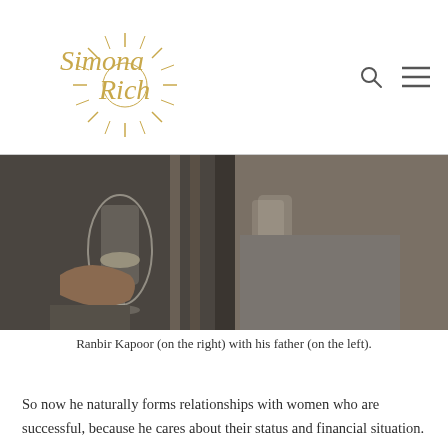Simona Rich
[Figure (photo): Two people holding wine glasses, one on the right (Ranbir Kapoor) and one on the left (his father), sitting outdoors.]
Ranbir Kapoor (on the right) with his father (on the left).
So now he naturally forms relationships with women who are successful, because he cares about their status and financial situation.
He also retained self-centeredness in relationships, and his love is lustful – there is nothing spiritual about it as far as I can see in the images. I have to give the disclaimer that I may be wrong though, in case the